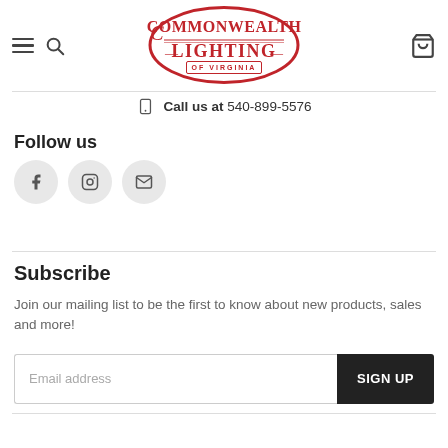[Figure (logo): Commonwealth Lighting of Virginia red vintage logo]
Call us at 540-899-5576
Follow us
[Figure (illustration): Facebook, Instagram, and email social media icon buttons]
Subscribe
Join our mailing list to be the first to know about new products, sales and more!
Email address
SIGN UP